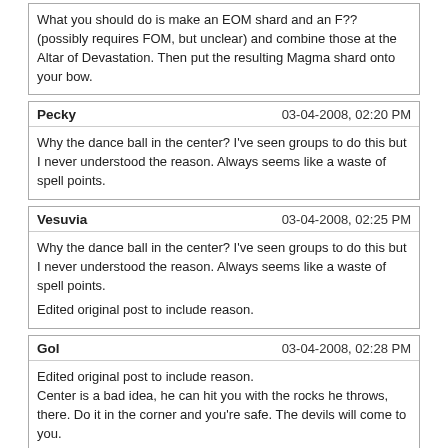What you should do is make an EOM shard and an F?? (possibly requires FOM, but unclear) and combine those at the Altar of Devastation. Then put the resulting Magma shard onto your bow.
Pecky | 03-04-2008, 02:20 PM
Why the dance ball in the center? I've seen groups to do this but I never understood the reason. Always seems like a waste of spell points.
Vesuvia | 03-04-2008, 02:25 PM
Why the dance ball in the center? I've seen groups to do this but I never understood the reason. Always seems like a waste of spell points.

Edited original post to include reason.
Gol | 03-04-2008, 02:28 PM
Edited original post to include reason.
Center is a bad idea, he can hit you with the rocks he throws, there. Do it in the corner and you're safe. The devils will come to you.
Vesuvia | 03-04-2008, 02:30 PM
It is not a bad idea as after his second fly over he no longer does meteor swarm. It's good to buff in the corner but after it's good to get in central position. The quicker your tanks are all in position and on him the better off you are. Also, I'd note to tell them to be on all sides of him and not together grouped up.
Dworkin_of_Amber | 03-04-2008, 02:45 PM